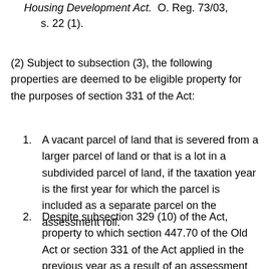Housing Development Act. O. Reg. 73/03, s. 22 (1).
(2) Subject to subsection (3), the following properties are deemed to be eligible property for the purposes of section 331 of the Act:
1. A vacant parcel of land that is severed from a larger parcel of land or that is a lot in a subdivided parcel of land, if the taxation year is the first year for which the parcel is included as a separate parcel on the assessment roll.
2. Despite subsection 329 (10) of the Act, property to which section 447.70 of the Old Act or section 331 of the Act applied in the previous year as a result of an assessment